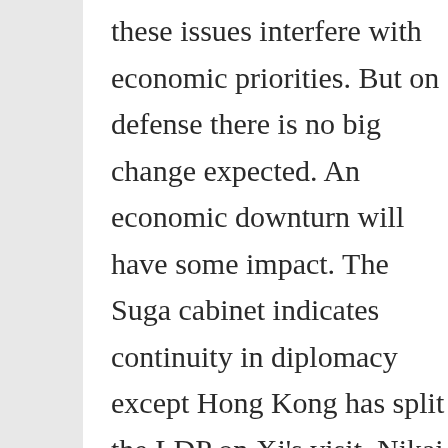these issues interfere with economic priorities. But on defense there is no big change expected. An economic downturn will have some impact. The Suga cabinet indicates continuity in diplomacy except Hong Kong has split the LDP on Xi's visit. Nikai has prevailed and kept hope alive even if the message is it is now more difficult. A split is evident